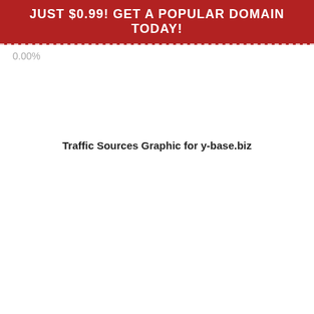JUST $0.99! GET A POPULAR DOMAIN TODAY!
0.00%
Traffic Sources Graphic for y-base.biz